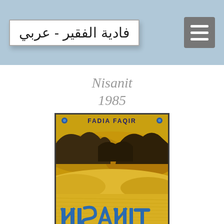فادية الفقير - عربي
Nisanit
1985
[Figure (illustration): Book cover of 'Nisanit' by Fadia Faqir (1985). Yellow/golden desert sand dunes with dark rocky outcroppings under a yellow sky. At the top in black text: 'FADIA FAQIR' flanked by blue decorative dots. At the bottom in large blue decorative lettering: 'NISANIT', with a small blue floral ornament below.]